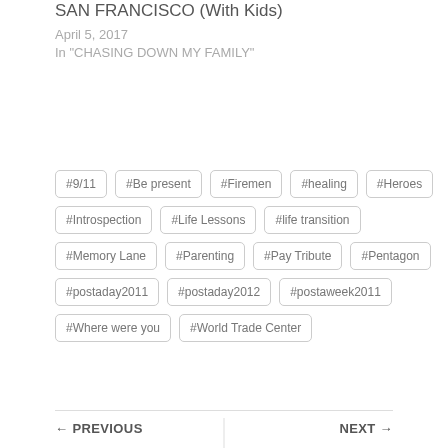SAN FRANCISCO (With Kids)
April 5, 2017
In "CHASING DOWN MY FAMILY"
#9/11
#Be present
#Firemen
#healing
#Heroes
#Introspection
#Life Lessons
#life transition
#Memory Lane
#Parenting
#Pay Tribute
#Pentagon
#postaday2011
#postaday2012
#postaweek2011
#Where were you
#World Trade Center
← PREVIOUS
NEXT →